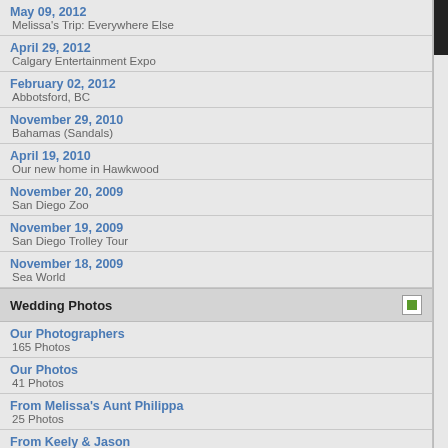May 09, 2012
Melissa's Trip: Everywhere Else
April 29, 2012
Calgary Entertainment Expo
February 02, 2012
Abbotsford, BC
November 29, 2010
Bahamas (Sandals)
April 19, 2010
Our new home in Hawkwood
November 20, 2009
San Diego Zoo
November 19, 2009
San Diego Trolley Tour
November 18, 2009
Sea World
Wedding Photos
Our Photographers
165 Photos
Our Photos
41 Photos
From Melissa's Aunt Philippa
25 Photos
From Keely & Jason
16 Photos
[Figure (screenshot): Right panel showing thumbnail navigation with numbers: thumbnail label, rows of numbers 25 26, 49 50, 73 74, 97 98 99 100 101, 121 122 123 124 12x, 145 146 147 148 14x, 169 170 171 172 17x, 193 194 195 196 19x, 217 218 219 220 22x, 241 242 243 244 24x]